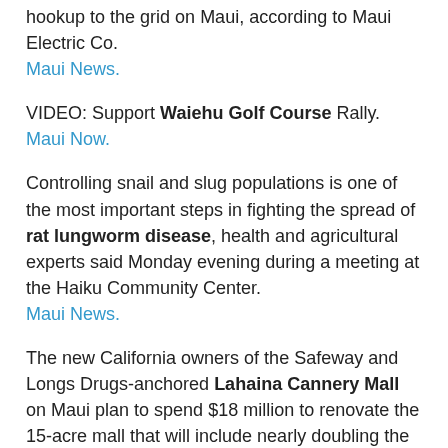hookup to the grid on Maui, according to Maui Electric Co. Maui News.
VIDEO: Support Waiehu Golf Course Rally. Maui Now.
Controlling snail and slug populations is one of the most important steps in fighting the spread of rat lungworm disease, health and agricultural experts said Monday evening during a meeting at the Haiku Community Center. Maui News.
The new California owners of the Safeway and Longs Drugs-anchored Lahaina Cannery Mall on Maui plan to spend $18 million to renovate the 15-acre mall that will include nearly doubling the size of the Safeway store, the company said Tuesday. Pacific Business News.
Kauai
In a move all sides are calling historic, the Hawaii State Water Commission on Tuesday approved a mediated settlement that restores tens of millions of gallons of